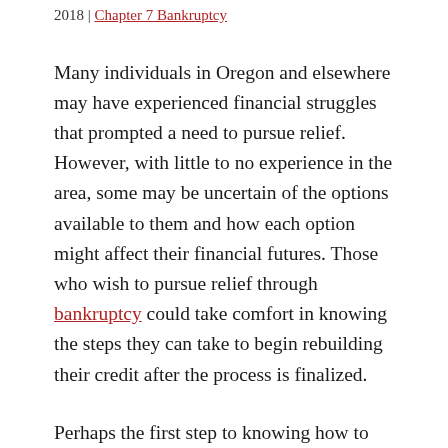2018 | Chapter 7 Bankruptcy
Many individuals in Oregon and elsewhere may have experienced financial struggles that prompted a need to pursue relief. However, with little to no experience in the area, some may be uncertain of the options available to them and how each option might affect their financial futures. Those who wish to pursue relief through bankruptcy could take comfort in knowing the steps they can take to begin rebuilding their credit after the process is finalized.
Perhaps the first step to knowing how to recover from bankruptcy is to gain an understanding of the process. Knowing what types of debt are eligible for discharge and how the process might affect one’s assets can help a person